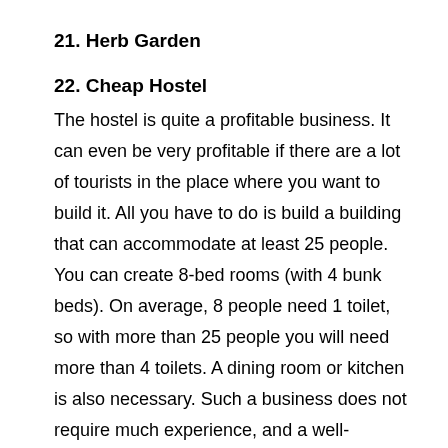21. Herb Garden
22. Cheap Hostel
The hostel is quite a profitable business. It can even be very profitable if there are a lot of tourists in the place where you want to build it. All you have to do is build a building that can accommodate at least 25 people. You can create 8-bed rooms (with 4 bunk beds). On average, 8 people need 1 toilet, so with more than 25 people you will need more than 4 toilets. A dining room or kitchen is also necessary. Such a business does not require much experience, and a well-organized one will start to generate profits from the first days.